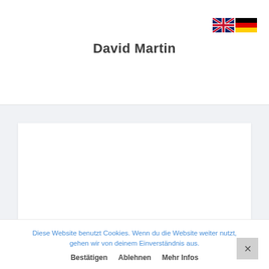David Martin
[Figure (illustration): UK and German flag icons in the top right header area]
[Figure (screenshot): White content area box in the main body section]
Diese Website benutzt Cookies. Wenn du die Website weiter nutzt, gehen wir von deinem Einverständnis aus.
Bestätigen   Ablehnen   Mehr Infos